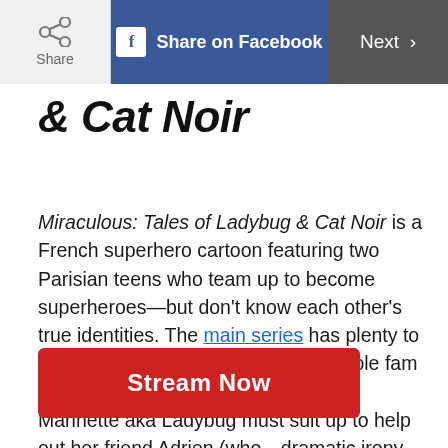Share | Share on Facebook | Next >
& Cat Noir
Miraculous: Tales of Ladybug & Cat Noir is a French superhero cartoon featuring two Parisian teens who team up to become superheroes—but don't know each other's true identities. The main series has plenty to delight the little ones—gather the whole fam to watch the 2016 Christmas special. Marinette aka Ladybug must suit up to help out her friend Adrien (who—dramatic irony abounds—is Cat Noir) after he runs away from home.
Stream Now